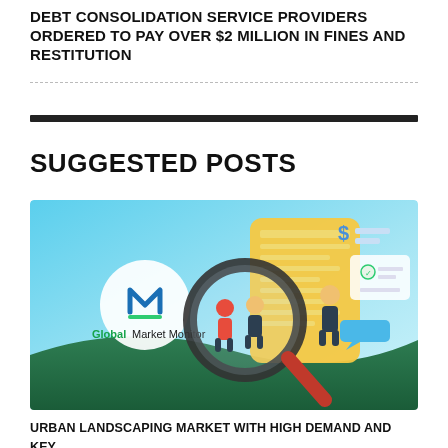DEBT CONSOLIDATION SERVICE PROVIDERS ORDERED TO PAY OVER $2 MILLION IN FINES AND RESTITUTION
[Figure (illustration): Global Market Monitor branded illustration showing a magnifying glass over financial documents with business people figures, on a blue and green gradient background]
URBAN LANDSCAPING MARKET WITH HIGH DEMAND AND KEY